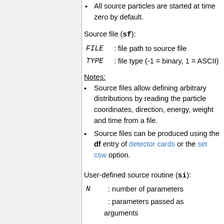All source particles are started at time zero by default.
Source file (sf):
FILE  : file path to source file
TYPE  : file type (-1 = binary, 1 = ASCII)
Notes:
Source files allow defining arbitrary distributions by reading the particle coordinates, direction, energy, weight and time from a file.
Source files can be produced using the df entry of detector cards or the set csw option.
User-defined source routine (si):
N  : number of parameters
: parameters passed as arguments